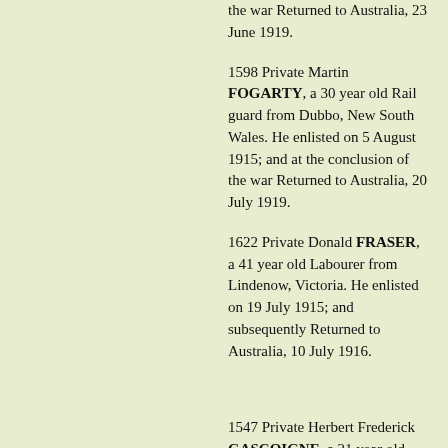the war Returned to Australia, 23 June 1919.
1598 Private Martin FOGARTY, a 30 year old Rail guard from Dubbo, New South Wales. He enlisted on 5 August 1915; and at the conclusion of the war Returned to Australia, 20 July 1919.
1622 Private Donald FRASER, a 41 year old Labourer from Lindenow, Victoria. He enlisted on 19 July 1915; and subsequently Returned to Australia, 10 July 1916.
1547 Private Herbert Frederick GASCOIGNE, a 21 year old Carpenter from Hunters Hill, New South Wales. He enlisted on 1 August 1915; and at the conclusion of the war Returned to Australia, 8 April 1919.
1600 Private Sydney John GEALE, a 23 year old Labourer